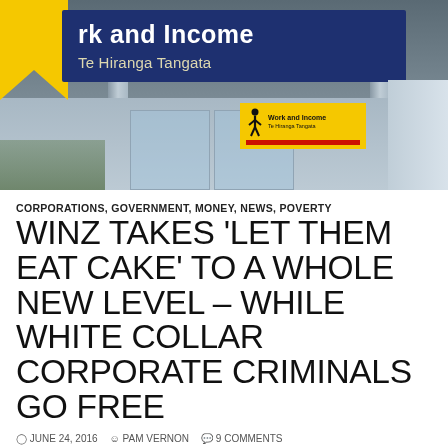[Figure (photo): Photograph of the exterior of a Work and Income Te Hiranga Tangata office building in New Zealand, showing the navy blue sign with white text 'Work and Income Te Hiranga Tangata', a yellow chevron element, a smaller yellow and red Work and Income sign, glass entrance doors, and concrete pillars.]
CORPORATIONS, GOVERNMENT, MONEY, NEWS, POVERTY
WINZ TAKES 'LET THEM EAT CAKE' TO A WHOLE NEW LEVEL – WHILE WHITE COLLAR CORPORATE CRIMINALS GO FREE
JUNE 24, 2016  PAM VERNON  9 COMMENTS